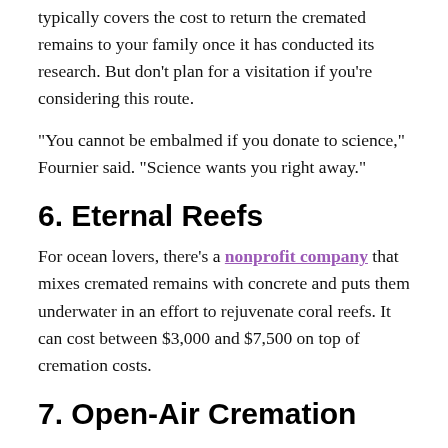typically covers the cost to return the cremated remains to your family once it has conducted its research. But don't plan for a visitation if you're considering this route.
“You cannot be embalmed if you donate to science,” Fournier said. “Science wants you right away.”
6. Eternal Reefs
For ocean lovers, there’s a nonprofit company that mixes cremated remains with concrete and puts them underwater in an effort to rejuvenate coral reefs. It can cost between $3,000 and $7,500 on top of cremation costs.
7. Open-Air Cremation
The traditional funeral pyre method of cremation is performed by the Crestone End-of-Life Project in Colorado, but it’s limited to pre-registered residents of a single county or few. The organization can cost a donation of $500 to